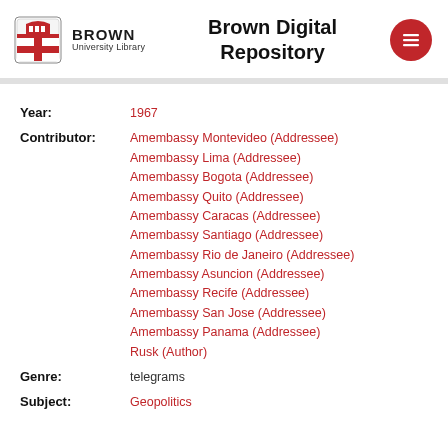BROWN University Library — Brown Digital Repository
Year: 1967
Contributor: Amembassy Montevideo (Addressee), Amembassy Lima (Addressee), Amembassy Bogota (Addressee), Amembassy Quito (Addressee), Amembassy Caracas (Addressee), Amembassy Santiago (Addressee), Amembassy Rio de Janeiro (Addressee), Amembassy Asuncion (Addressee), Amembassy Recife (Addressee), Amembassy San Jose (Addressee), Amembassy Panama (Addressee), Rusk (Author)
Genre: telegrams
Subject: Geopolitics